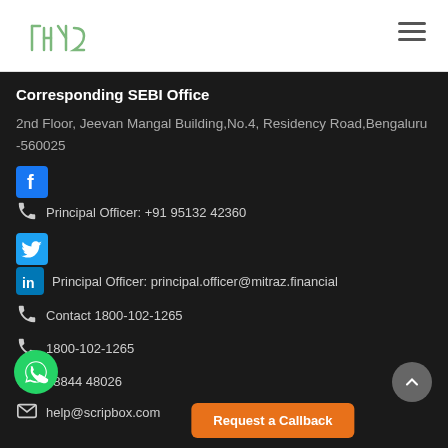[Figure (logo): Mitraz financial logo in green color with stylized characters]
Corresponding SEBI Office
2nd Floor, Jeevan Mangal Building,No.4, Residency Road,Bengaluru -560025
Principal Officer: +91 95132 42360
Principal Officer: principal.officer@mitraz.financial
Contact 1800-102-1265
1800-102-1265
88844 48026
help@scripbox.com